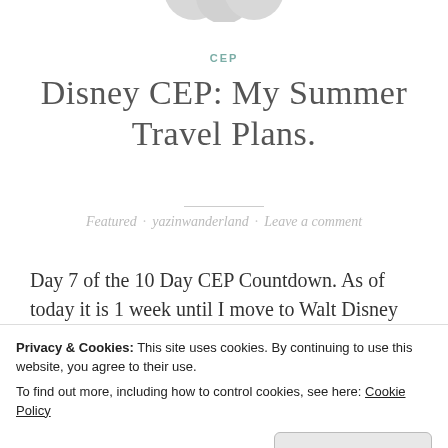[Figure (logo): Partially visible logo circles at top of page]
CEP
Disney CEP: My Summer Travel Plans.
Featured · yazinwanderland · Leave a comment
Day 7 of the 10 Day CEP Countdown. As of today it is 1 week until I move to Walt Disney World for the
Privacy & Cookies: This site uses cookies. By continuing to use this website, you agree to their use.
To find out more, including how to control cookies, see here: Cookie Policy
Close and accept